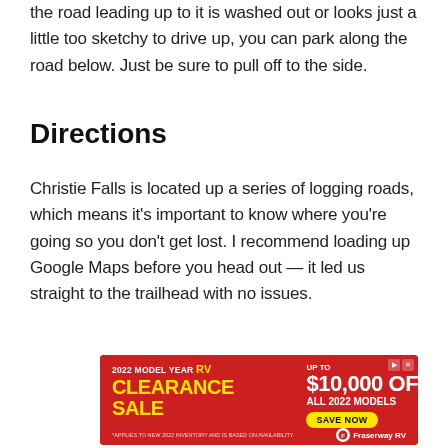the road leading up to it is washed out or looks just a little too sketchy to drive up, you can park along the road below. Just be sure to pull off to the side.
Directions
Christie Falls is located up a series of logging roads, which means it's important to know where you're going so you don't get lost. I recommend loading up Google Maps before you head out — it led us straight to the trailhead with no issues.
[Figure (other): Advertisement banner for Fraserway RV 2022 Model Year Clearance Sale, offering up to $10,000 off all 2022 models with a Save Now button.]